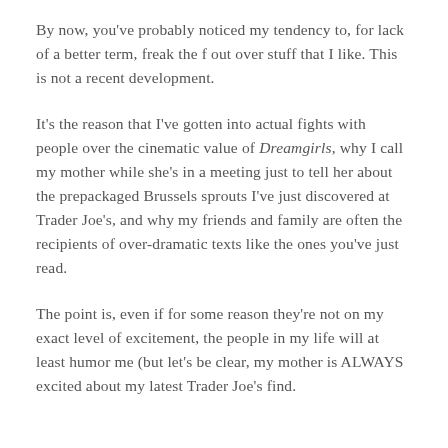By now, you've probably noticed my tendency to, for lack of a better term, freak the f out over stuff that I like. This is not a recent development.
It's the reason that I've gotten into actual fights with people over the cinematic value of Dreamgirls, why I call my mother while she's in a meeting just to tell her about the prepackaged Brussels sprouts I've just discovered at Trader Joe's, and why my friends and family are often the recipients of over-dramatic texts like the ones you've just read.
The point is, even if for some reason they're not on my exact level of excitement, the people in my life will at least humor me (but let's be clear, my mother is ALWAYS excited about my latest Trader Joe's find.